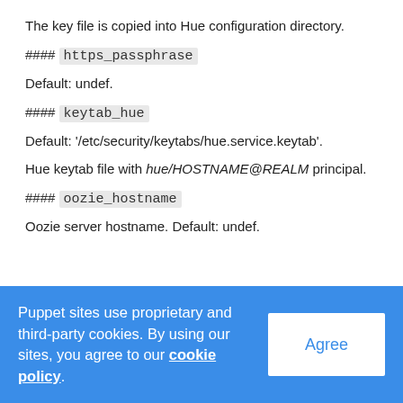The key file is copied into Hue configuration directory.
#### https_passphrase
Default: undef.
#### keytab_hue
Default: '/etc/security/keytabs/hue.service.keytab'.
Hue keytab file with hue/HOSTNAME@REALM principal.
#### oozie_hostname
Oozie server hostname. Default: undef.
Puppet sites use proprietary and third-party cookies. By using our sites, you agree to our cookie policy.